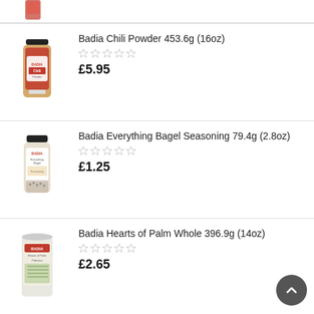[Figure (photo): Partial product image at top of page, cropped]
Badia Chili Powder 453.6g (16oz)
£5.95
Badia Everything Bagel Seasoning 79.4g (2.8oz)
£1.25
Badia Hearts of Palm Whole 396.9g (14oz)
£2.65